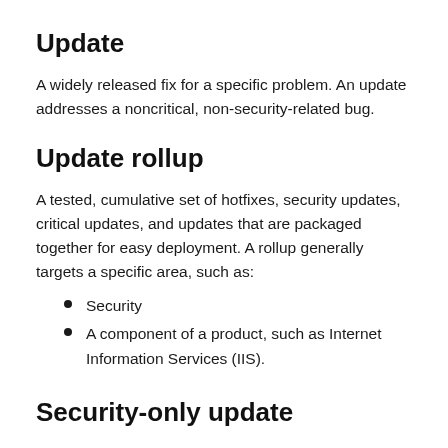Update
A widely released fix for a specific problem. An update addresses a noncritical, non-security-related bug.
Update rollup
A tested, cumulative set of hotfixes, security updates, critical updates, and updates that are packaged together for easy deployment. A rollup generally targets a specific area, such as:
Security
A component of a product, such as Internet Information Services (IIS).
Security-only update